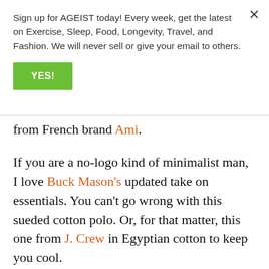Sign up for AGEIST today! Every week, get the latest on Exercise, Sleep, Food, Longevity, Travel, and Fashion. We will never sell or give your email to others.
YES!
from French brand Ami.
If you are a no-logo kind of minimalist man, I love Buck Mason's updated take on essentials. You can't go wrong with this sueded cotton polo. Or, for that matter, this one from J. Crew in Egyptian cotton to keep you cool.
And if you're a boy on a budget, Uniqlo. Everlane. Gap.  On repeat all summer.